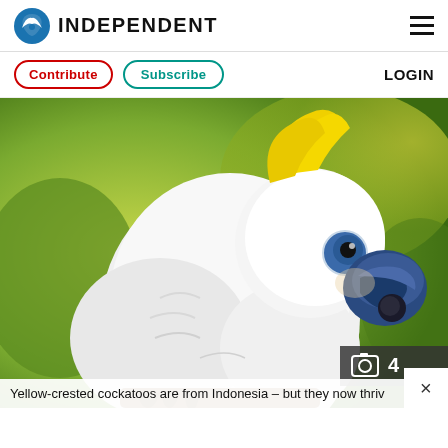INDEPENDENT
Contribute  Subscribe  LOGIN
[Figure (photo): Close-up photo of a white yellow-crested cockatoo with a bright yellow crest feather and blue beak, perched against a blurred green background. A camera badge showing '4' appears in the lower right.]
Yellow-crested cockatoos are from Indonesia – but they now thriv